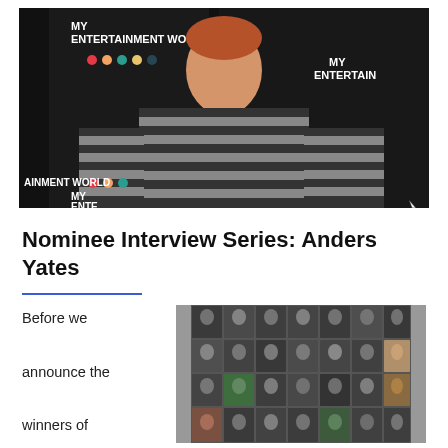[Figure (photo): A smiling person wearing a black and grey striped sweater posing in front of a MY ENTERTAINMENT WORLD branded backdrop with colorful circles.]
Nominee Interview Series: Anders Yates
Before we announce the winners of the 2016
[Figure (photo): A collage of headshots of multiple people (nominees) posed against dark backgrounds.]